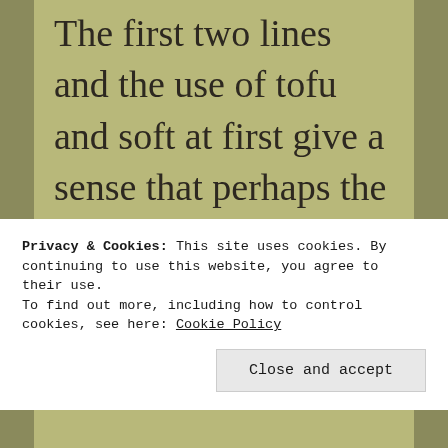The first two lines and the use of tofu and soft at first give a sense that perhaps the narrator is merely plump, while the clever third line, easily falling apart, adds another
Privacy & Cookies: This site uses cookies. By continuing to use this website, you agree to their use.
To find out more, including how to control cookies, see here: Cookie Policy
Close and accept